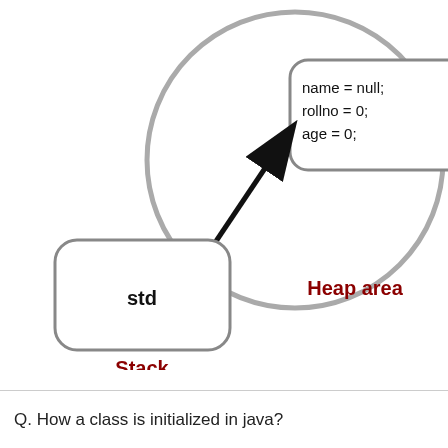[Figure (schematic): Diagram showing Java memory model: a rounded rectangle labeled 'std' on the stack (bottom-left), connected by a black arrow pointing to a large circle (Heap area) containing a rounded rectangle with 'name = null; rollno = 0; age = 0;'. Labels: 'Stack' in dark red below the small box, 'Heap area' in dark red to the right inside the circle.]
Q. How a class is initialized in java?